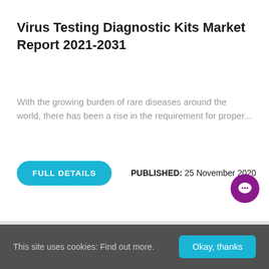Virus Testing Diagnostic Kits Market Report 2021-2031
With the growing burden of rare diseases around the world, there has been a rise in the requirement for proper...
FULL DETAILS
PUBLISHED: 25 November 2020
This site uses cookies: Find out more. Okay, thanks